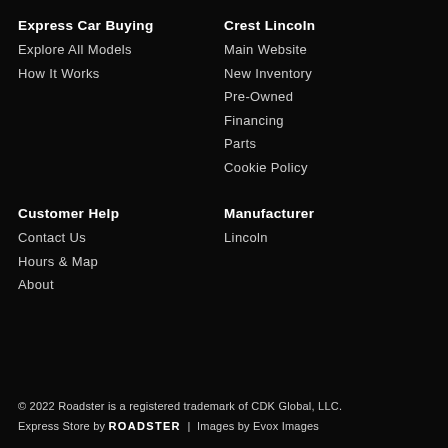Express Car Buying
Explore All Models
How It Works
Crest Lincoln
Main Website
New Inventory
Pre-Owned
Financing
Parts
Cookie Policy
Customer Help
Contact Us
Hours & Map
About
Manufacturer
Lincoln
© 2022 Roadster is a registered trademark of CDK Global, LLC.
Express Store by ROADSTER  |  Images by Evox Images